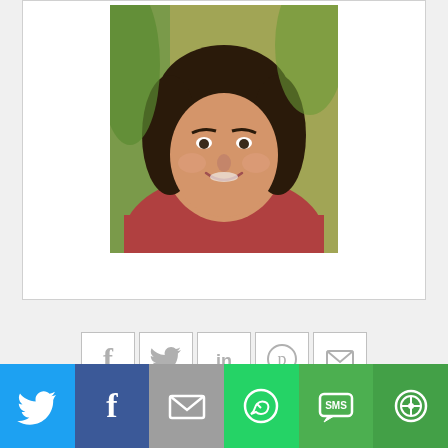[Figure (photo): Portrait photo of a woman smiling, with dark hair, wearing a red patterned top, with green foliage in the background. Photo is inside a white card with border.]
[Figure (infographic): Row of five social share icon buttons: Facebook (f), Twitter (bird), LinkedIn (in), Pinterest (p), Email (envelope). Each in a square with light border on white background.]
[Figure (infographic): Bottom share bar with six colored buttons: Twitter (light blue), Facebook (dark blue), Email (gray), WhatsApp (green), SMS (green), More (dark green).]